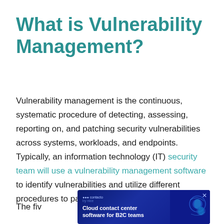What is Vulnerability Management?
Vulnerability management is the continuous, systematic procedure of detecting, assessing, reporting on, and patching security vulnerabilities across systems, workloads, and endpoints. Typically, an information technology (IT) security team will use a vulnerability management software to identify vulnerabilities and utilize different procedures to patch them.
The fiv...
[Figure (other): Advertisement banner for Contacto cloud contact center software for B2C teams, with blue gradient background and abstract graphic elements]